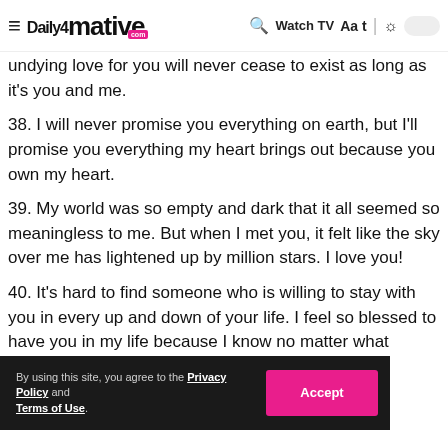Daily4Mative.com | Watch TV | Aa
undying love for you will never cease to exist as long as it's you and me.
38. I will never promise you everything on earth, but I'll promise you everything my heart brings out because you own my heart.
39. My world was so empty and dark that it all seemed so meaningless to me. But when I met you, it felt like the sky over me has lightened up by million stars. I love you!
40. It's hard to find someone who is willing to stay with you in every up and down of your life. I feel so blessed to have you in my life because I know no matter what happens your love for me ne
41.
By using this site, you agree to the Privacy Policy and Terms of Use.